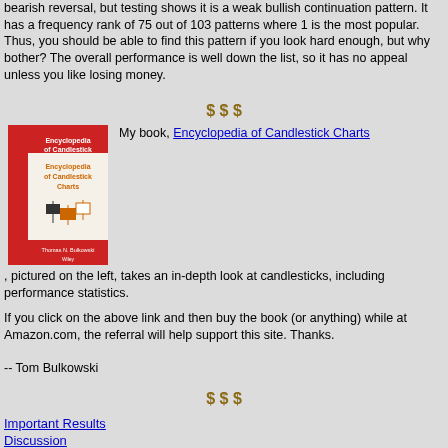bearish reversal, but testing shows it is a weak bullish continuation pattern. It has a frequency rank of 75 out of 103 patterns where 1 is the most popular. Thus, you should be able to find this pattern if you look hard enough, but why bother? The overall performance is well down the list, so it has no appeal unless you like losing money.
$ $ $
[Figure (illustration): Book cover of Encyclopedia of Candlestick Charts with red spine and white cover]
My book, Encyclopedia of Candlestick Charts, pictured on the left, takes an in-depth look at candlesticks, including performance statistics.
If you click on the above link and then buy the book (or anything) while at Amazon.com, the referral will help support this site. Thanks.
-- Tom Bulkowski
$ $ $
Important Results
Discussion